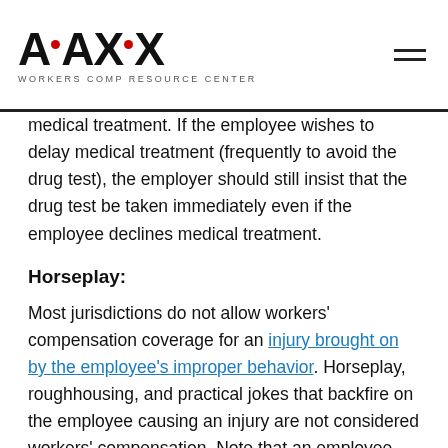AMAXX WORKERS COMP RESOURCE CENTER
medical treatment. If the employee wishes to delay medical treatment (frequently to avoid the drug test), the employer should still insist that the drug test be taken immediately even if the employee declines medical treatment.
Horseplay:
Most jurisdictions do not allow workers' compensation coverage for an injury brought on by the employee's improper behavior. Horseplay, roughhousing, and practical jokes that backfire on the employee causing an injury are not considered workers' compensation. Note that an employee who is not a willing participant and is injured by the